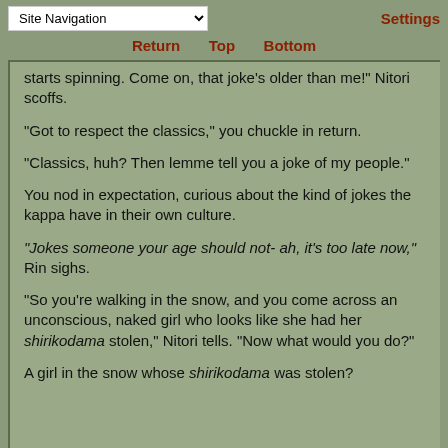Site Navigation | Settings
Return  Top  Bottom
starts spinning. Come on, that joke's older than me!" Nitori scoffs.
"Got to respect the classics," you chuckle in return.
"Classics, huh? Then lemme tell you a joke of my people."
You nod in expectation, curious about the kind of jokes the kappa have in their own culture.
"Jokes someone your age should not- ah, it's too late now," Rin sighs.
"So you're walking in the snow, and you come across an unconscious, naked girl who looks like she had her shirikodama stolen," Nitori tells. "Now what would you do?"
A girl in the snow whose shirikodama was stolen?